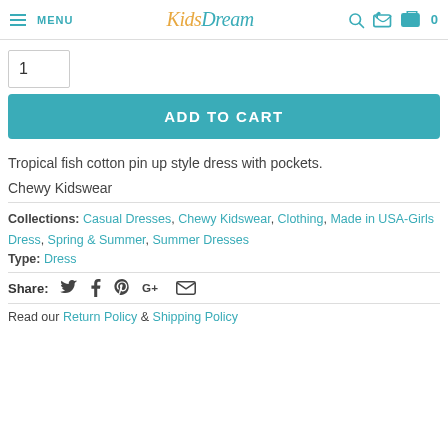MENU | Kids Dream | 0
1
ADD TO CART
Tropical fish cotton pin up style dress with pockets.
Chewy Kidswear
Collections: Casual Dresses, Chewy Kidswear, Clothing, Made in USA-Girls Dress, Spring & Summer, Summer Dresses
Type: Dress
Share:
Read our Return Policy & Shipping Policy